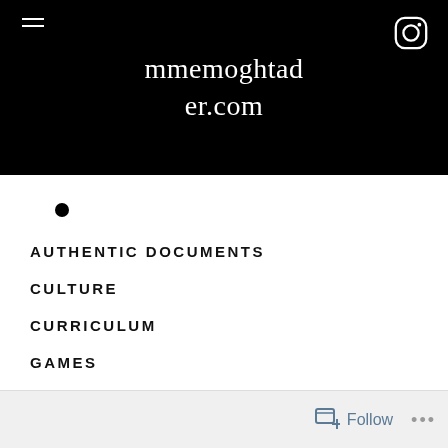mmemoghtader.com
•
AUTHENTIC DOCUMENTS
CULTURE
CURRICULUM
GAMES
HYBRID AND REMOTE LEARNING
Follow